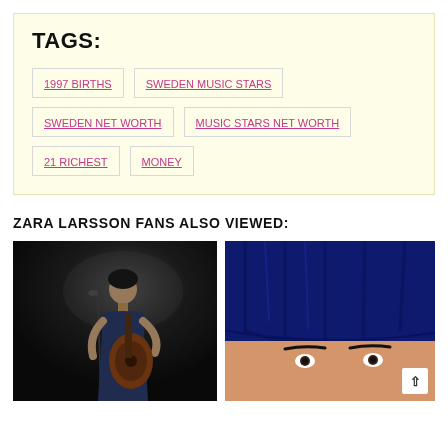TAGS:
1997 BIRTHS
SWEDEN MUSIC STARS
SWEDEN NET WORTH
MUSIC STARS NET WORTH
21 RICHEST
MONEY
ZARA LARSSON FANS ALSO VIEWED:
[Figure (photo): Male musician playing guitar at microphone in dark venue]
[Figure (photo): Close-up of person with dark blue hair and bangs]